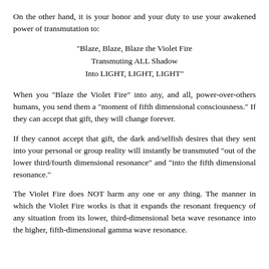On the other hand, it is your honor and your duty to use your awakened power of transmutation to:
“Blaze, Blaze, Blaze the Violet Fire
Transmuting ALL Shadow
Into LIGHT, LIGHT, LIGHT”
When you “Blaze the Violet Fire” into any, and all, power-over-others humans, you send them a “moment of fifth dimensional consciousness.” If they can accept that gift, they will change forever.
If they cannot accept that gift, the dark and/selfish desires that they sent into your personal or group reality will instantly be transmuted “out of the lower third/fourth dimensional resonance” and “into the fifth dimensional resonance.”
The Violet Fire does NOT harm any one or any thing. The manner in which the Violet Fire works is that it expands the resonant frequency of any situation from its lower, third-dimensional beta wave resonance into the higher, fifth-dimensional gamma wave resonance.